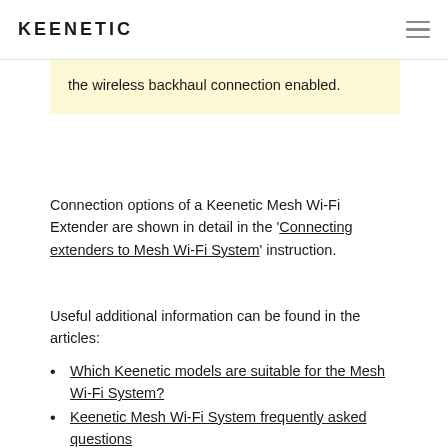KEENETIC
the wireless backhaul connection enabled.
Connection options of a Keenetic Mesh Wi-Fi Extender are shown in detail in the 'Connecting extenders to Mesh Wi-Fi System' instruction.
Useful additional information can be found in the articles:
Which Keenetic models are suitable for the Mesh Wi-Fi System?
Keenetic Mesh Wi-Fi System frequently asked questions